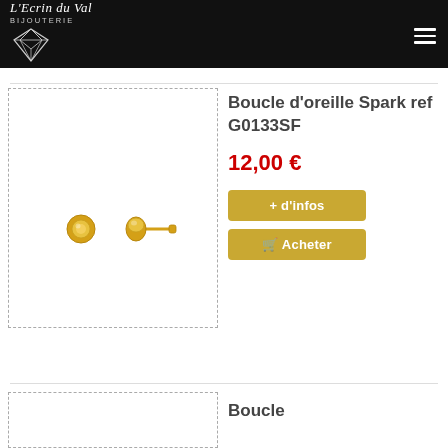L'Ecrin du Val BIJOUTERIE
[Figure (photo): Gold stud earrings with yellow crystal stones, shown as a pair: one face-on and one side view]
Boucle d'oreille Spark ref G0133SF
12,00 €
+ d'infos
🛒 Acheter
Boucle